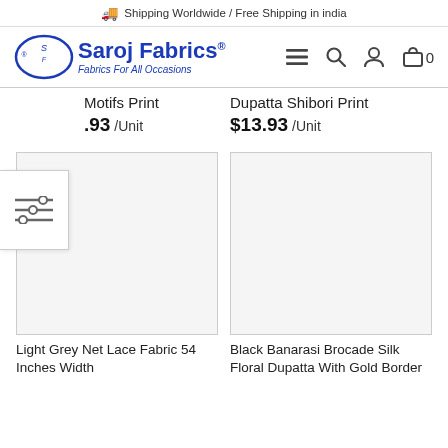🚚 Shipping Worldwide / Free Shipping in india
[Figure (logo): Saroj Fabrics logo with oval SF emblem and tagline 'Fabrics For All Occasions']
Motifs Print
$13.93 /Unit
Dupatta Shibori Print
$13.93 /Unit
[Figure (photo): Product image placeholder for Light Grey Net Lace Fabric 54 Inches Width]
[Figure (photo): Product image placeholder for Black Banarasi Brocade Silk Floral Dupatta With Gold Border]
Light Grey Net Lace Fabric 54 Inches Width
Black Banarasi Brocade Silk Floral Dupatta With Gold Border